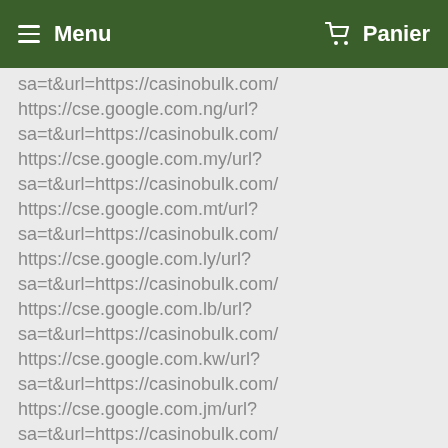Menu   Panier
sa=t&url=https://casinobulk.com/
https://cse.google.com.ng/url?
sa=t&url=https://casinobulk.com/
https://cse.google.com.my/url?
sa=t&url=https://casinobulk.com/
https://cse.google.com.mt/url?
sa=t&url=https://casinobulk.com/
https://cse.google.com.ly/url?
sa=t&url=https://casinobulk.com/
https://cse.google.com.lb/url?
sa=t&url=https://casinobulk.com/
https://cse.google.com.kw/url?
sa=t&url=https://casinobulk.com/
https://cse.google.com.jm/url?
sa=t&url=https://casinobulk.com/
https://cse.google.com.hk/url?